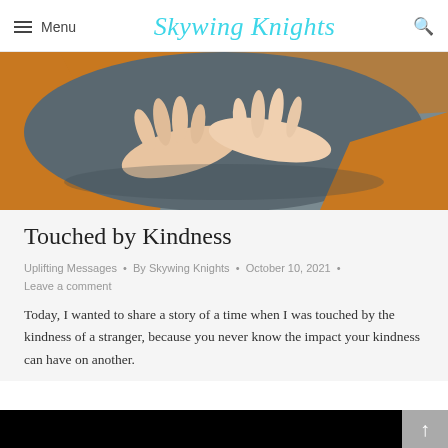Menu | Skywing Knights
[Figure (photo): Close-up photo of two hands gently touching or clasped together, with an orange/amber background.]
Touched by Kindness
Uplifting Messages • By Skywing Knights • October 10, 2021 • Leave a comment
Today, I wanted to share a story of a time when I was touched by the kindness of a stranger, because you never know the impact your kindness can have on another.